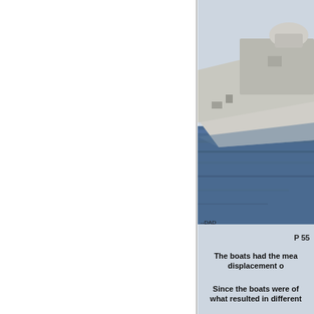[Figure (photo): A military or patrol boat on water viewed from the side, showing the deck with equipment and superstructure]
--DAD
P 55
The boats had the mea displacement o
Since the boats were of what resulted in different